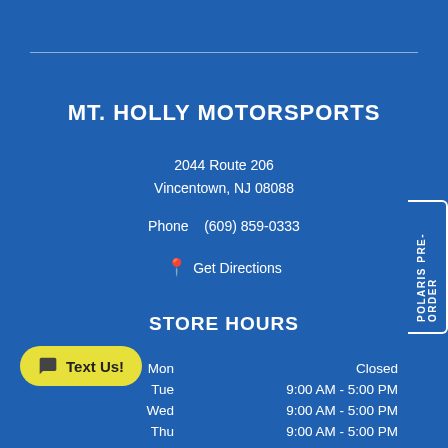MT. HOLLY MOTORSPORTS
2044 Route 206
Vincentown, NJ 08088
Phone   (609) 859-0333
Get Directions
STORE HOURS
| Day | Hours |
| --- | --- |
| Mon | Closed |
| Tue | 9:00 AM - 5:00 PM |
| Wed | 9:00 AM - 5:00 PM |
| Thu | 9:00 AM - 5:00 PM |
| Fri | 9:00 AM - 7:00 PM |
| Sat | 9:00 AM - 4:00 PM |
POLARIS PRE-ORDER